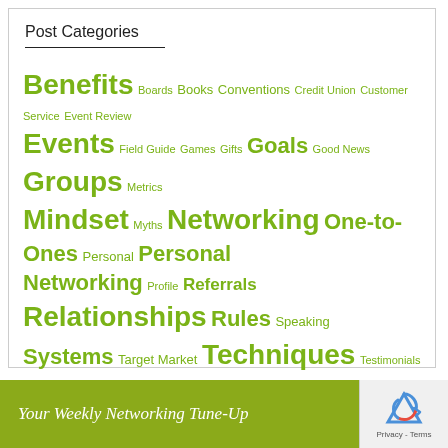Post Categories
Benefits Boards Books Conventions Credit Union Customer Service Event Review Events Field Guide Games Gifts Goals Good News Groups Metrics Mindset Myths Networking One-to-Ones Personal Personal Networking Profile Referrals Relationships Rules Speaking Systems Target Market Techniques Testimonials Theory Tools Tutorial Venue Review Writing
Your Weekly Networking Tune-Up